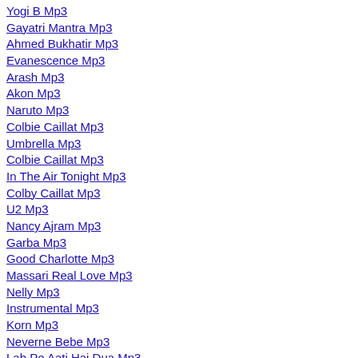Yogi B Mp3
Gayatri Mantra Mp3
Ahmed Bukhatir Mp3
Evanescence Mp3
Arash Mp3
Akon Mp3
Naruto Mp3
Colbie Caillat Mp3
Umbrella Mp3
Colbie Caillat Mp3
In The Air Tonight Mp3
Colby Caillat Mp3
U2 Mp3
Nancy Ajram Mp3
Garba Mp3
Good Charlotte Mp3
Massari Real Love Mp3
Nelly Mp3
Instrumental Mp3
Korn Mp3
Neverne Bebe Mp3
Lab Pe Aati Hai Dua Mp3
Betapa Aku Mencintaimu Mp3
Kol Nidre Mp3
Jai Dev Jai Dev Mp3